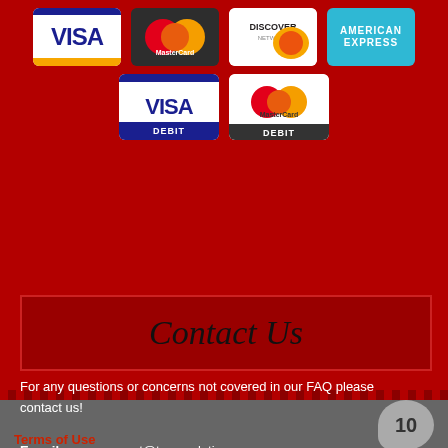[Figure (logo): Payment method icons: Visa, MasterCard, Discover Network, American Express (row 1), Visa Debit, MasterCard Debit (row 2)]
Contact Us
For any questions or concerns not covered in our FAQ please contact us!
E-mail: management@tmsnsolutions.com
Phone: 888-790-7908
10
Terms of Use